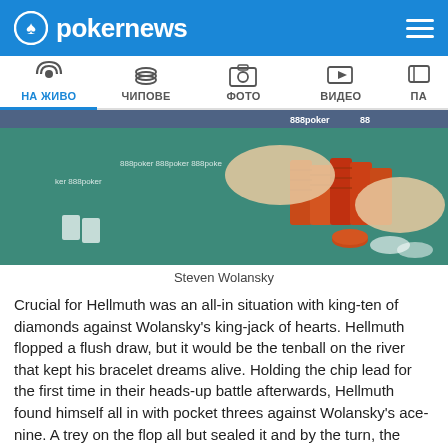pokernews
[Figure (screenshot): Navigation bar with icons for НА ЖИВО (Live), ЧИПОВЕ (Chips), ФОТО (Photo), ВИДЕО (Video), and more tabs]
[Figure (photo): Poker table with 888poker branding, showing orange poker chips stacked on a green felt surface with player hands visible]
Steven Wolansky
Crucial for Hellmuth was an all-in situation with king-ten of diamonds against Wolansky's king-jack of hearts. Hellmuth flopped a flush draw, but it would be the tenball on the river that kept his bracelet dreams alive. Holding the chip lead for the first time in their heads-up battle afterwards, Hellmuth found himself all in with pocket threes against Wolansky's ace-nine. A trey on the flop all but sealed it and by the turn, the room erupted as the world is now a 15-time WSOP bracelet